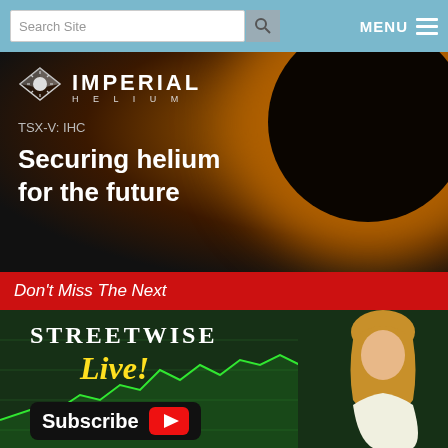Search Site | MENU
[Figure (advertisement): Imperial Helium advertisement with eclipse background, TSX-V: IHC, 'Securing helium for the future']
[Figure (advertisement): Streetwise Live advertisement with red bar 'Don't Miss The Next', Streetwise Live! text, Subscribe button, woman photo]